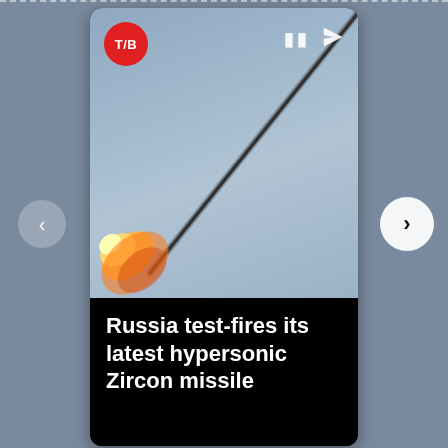[Figure (screenshot): News app story card screenshot showing a missile launch video still with a T/B (red circle) logo badge, pause and share icons. A missile with a smoke trail is visible against a grey-blue sky with flame/exhaust at lower left.]
Russia test-fires its latest hypersonic Zircon missile